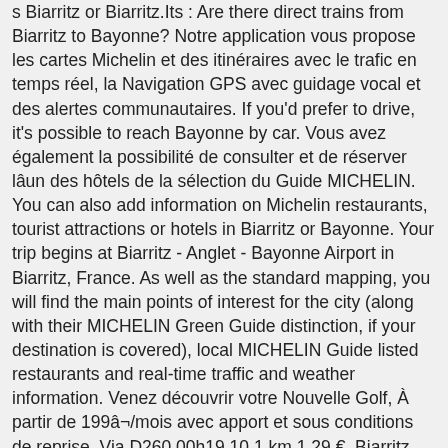s Biarritz or Biarritz.Its : Are there direct trains from Biarritz to Bayonne? Notre application vous propose les cartes Michelin et des itinéraires avec le trafic en temps réel, la Navigation GPS avec guidage vocal et des alertes communautaires. If you'd prefer to drive, it's possible to reach Bayonne by car. Vous avez également la possibilité de consulter et de réserver lâun des hôtels de la sélection du Guide MICHELIN. You can also add information on Michelin restaurants, tourist attractions or hotels in Biarritz or Bayonne. Your trip begins at Biarritz - Anglet - Bayonne Airport in Biarritz, France. As well as the standard mapping, you will find the main points of interest for the city (along with their MICHELIN Green Guide distinction, if your destination is covered), local MICHELIN Guide listed restaurants and real-time traffic and weather information. Venez découvrir votre Nouvelle Golf, À partir de 199â¬/mois avec apport et sous conditions de reprise. Via D260 00h19 10.1 km 1,29 €. Biarritz lies on the Bay of Biscay, on the Atlantic coast, in southwestern France. Thank you! Biarritz, France: Boulevard du Bayonne Anglet Biarritz/D260 heading to St Jean de